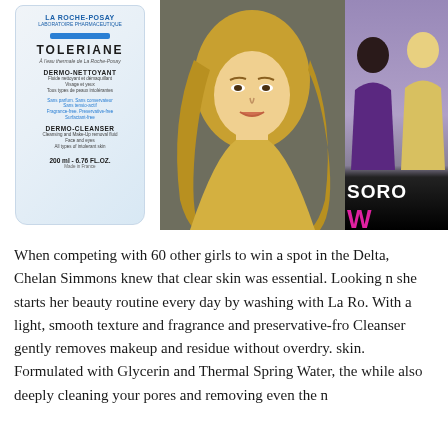[Figure (photo): Three images side by side: a La Roche-Posay Toleriane Dermo-Cleanser product bottle on the left, a portrait photo of a blonde woman in the center, and a partial image of a Sorority Wars TV show promotion on the right.]
When competing with 60 other girls to win a spot in the Delta, Chelan Simmons knew that clear skin was essential. Looking n she starts her beauty routine every day by washing with La Ro. With a light, smooth texture and fragrance and preservative-fro Cleanser gently removes makeup and residue without overdry. skin. Formulated with Glycerin and Thermal Spring Water, the while also deeply cleaning your pores and removing even the n